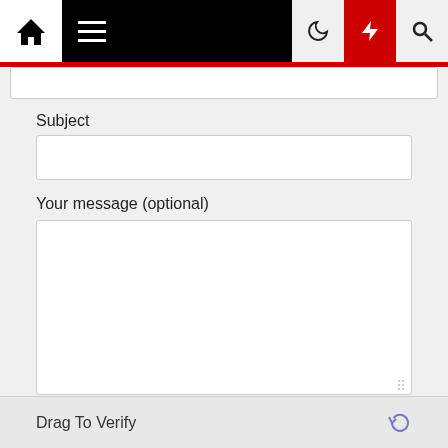[Figure (screenshot): Website navigation bar with home icon, hamburger menu, dark/moon icon, red lightning bolt icon, and search icon]
Subject
[Figure (screenshot): Subject input text field (empty)]
Your message (optional)
[Figure (screenshot): Message textarea (empty)]
Drag To Verify